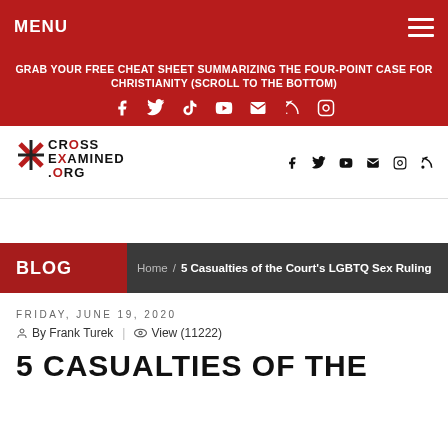MENU
GRAB YOUR FREE CHEAT SHEET SUMMARIZING THE FOUR-POINT CASE FOR CHRISTIANITY (SCROLL TO THE BOTTOM)
[Figure (other): Social media icons: Facebook, Twitter, TikTok, YouTube, Email, RSS, Instagram on red background]
[Figure (logo): CrossExamined.org logo with cross graphic]
[Figure (other): Social media icons: Facebook, Twitter, YouTube, Email, Instagram, RSS]
BLOG
Home / 5 Casualties of the Court's LGBTQ Sex Ruling
FRIDAY, JUNE 19, 2020
By Frank Turek  |  View (11222)
5 CASUALTIES OF THE